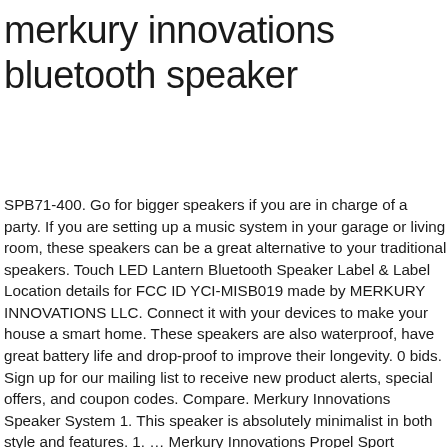merkury innovations bluetooth speaker
SPB71-400. Go for bigger speakers if you are in charge of a party. If you are setting up a music system in your garage or living room, these speakers can be a great alternative to your traditional speakers. Touch LED Lantern Bluetooth Speaker Label & Label Location details for FCC ID YCI-MISB019 made by MERKURY INNOVATIONS LLC. Connect it with your devices to make your house a smart home. These speakers are also waterproof, have great battery life and drop-proof to improve their longevity. 0 bids. Sign up for our mailing list to receive new product alerts, special offers, and coupon codes. Compare. Merkury Innovations Speaker System 1. This speaker is absolutely minimalist in both style and features. 1. … Merkury Innovations Propel Sport Bluetooth 4.2 Wireless Earbuds Black and Blue . shower speaker. Built-in Speakerphone, Playback & Volume Controls, 6 Hour Battery - Black - MI-SPB3M-101: Portable Bluetooth Speakers - Amazon.com FREE DELIVERY possible on eligible purchases … C $10.26. No matter what type of music you listen to, a Bluetooth speaker is just what you need to take your music wherever you go. Merkury Innovations Pro Sound True